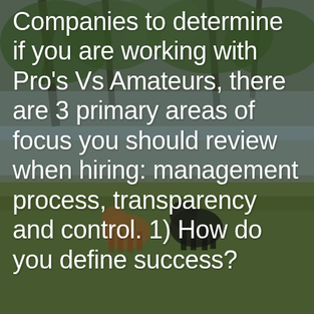[Figure (photo): Outdoor photo background showing two dogs (one brown/white, one black) standing by a body of water with trees and grassy bank. Image is muted/darkened with a nature scene.]
Companies to determine if you are working with Pro's Vs Amateurs, there are 3 primary areas of focus you should review when hiring: management process, transparency and control. 1) How do you define success?